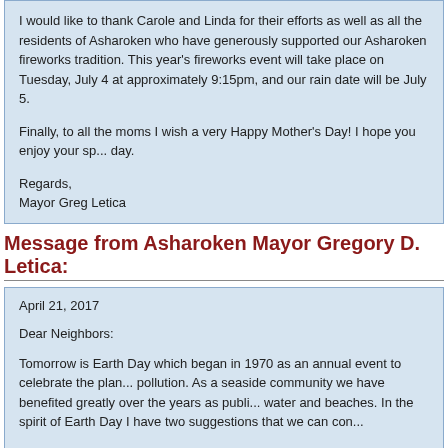I would like to thank Carole and Linda for their efforts as well as all the residents of Asharoken who have generously supported our Asharoken fireworks tradition. This year's fireworks event will take place on Tuesday, July 4 at approximately 9:15pm, and our rain date will be July 5.

Finally, to all the moms I wish a very Happy Mother's Day! I hope you enjoy your sp... day.

Regards,
Mayor Greg Letica
Message from Asharoken Mayor Gregory D. Letica:
April 21, 2017

Dear Neighbors:

Tomorrow is Earth Day which began in 1970 as an annual event to celebrate the plan... pollution. As a seaside community we have benefited greatly over the years as publi... water and beaches. In the spirit of Earth Day I have two suggestions that we can con...

The Village's single stream recycling program has been a success but I am sure we c... to start as soon as possible and for those who regularly participate to become even m... with the Town of Smithtown and began Single Stream Recycling, which has benefite... recycling lowers our trash tonnage. Second, there are no tipping fees for our recyclab... recycling guide to help you realize just how much trash can be recycled. All of your... picked up every Wednesday.